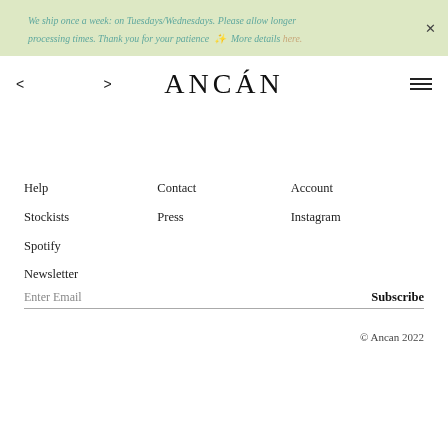We ship once a week: on Tuesdays/Wednesdays. Please allow longer processing times. Thank you for your patience 🌸 More details here.
ANCÁN
Help
Stockists
Spotify
Contact
Press
Account
Instagram
Newsletter
Enter Email
Subscribe
© Ancan 2022